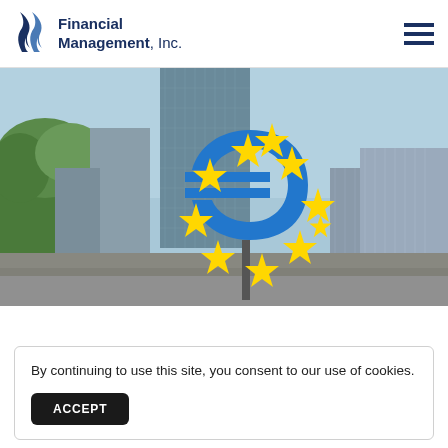Financial Management, Inc.
[Figure (photo): Euro symbol sculpture with yellow stars in front of a tall glass skyscraper in Frankfurt, Germany. Blue sky with clouds in background, green trees on left, office buildings on right.]
By continuing to use this site, you consent to our use of cookies.
ACCEPT